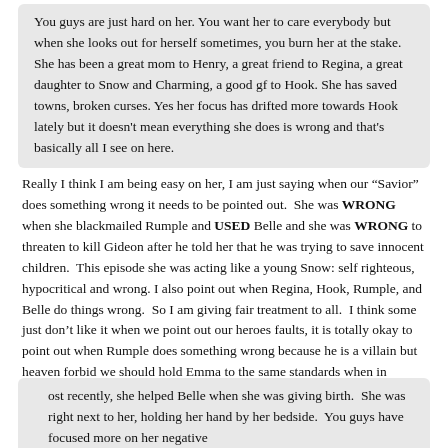You guys are just hard on her. You want her to care everybody but when she looks out for herself sometimes, you burn her at the stake. She has been a great mom to Henry, a great friend to Regina, a great daughter to Snow and Charming, a good gf to Hook. She has saved towns, broken curses. Yes her focus has drifted more towards Hook lately but it doesn't mean everything she does is wrong and that's basically all I see on here.
Really I think I am being easy on her, I am just saying when our “Savior” does something wrong it needs to be pointed out. She was WRONG when she blackmailed Rumple and USED Belle and she was WRONG to threaten to kill Gideon after he told her that he was trying to save innocent children. This episode she was acting like a young Snow: self righteous, hypocritical and wrong. I also point out when Regina, Hook, Rumple, and Belle do things wrong. So I am giving fair treatment to all. I think some just don’t like it when we point out our heroes faults, it is totally okay to point out when Rumple does something wrong because he is a villain but heaven forbid we should hold Emma to the same standards when in actuality she should be held to higher standards because she is supposed to be THE hero and Savior of this story.
ost recently, she helped Belle when she was giving birth. She was right next to her, holding her hand by her bedside. You guys have focused more on her negative